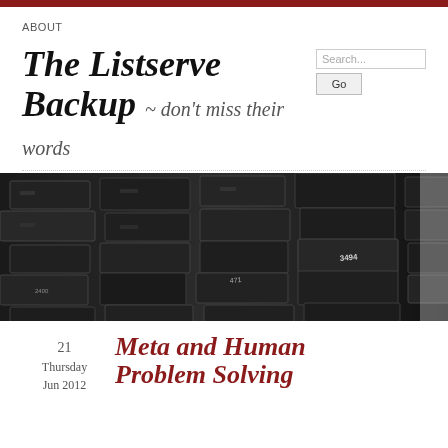ABOUT
The Listserve Backup ~ don't miss their words
[Figure (photo): Close-up black and white photo of stacked server or hardware rack units with numbered slots, including visible label '3494']
21 Thursday Jun 2012
Meta and Human Problem Solving